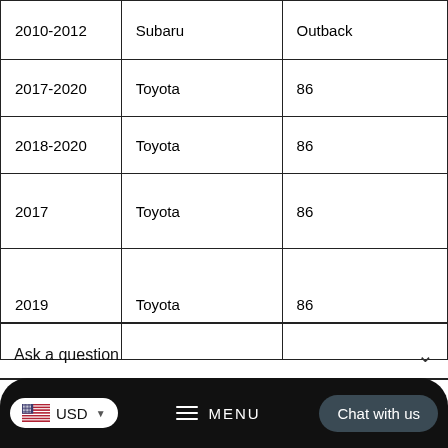| 2010-2012 | Subaru | Outback |
| 2017-2020 | Toyota | 86 |
| 2018-2020 | Toyota | 86 |
| 2017 | Toyota | 86 |
| 2019 | Toyota | 86 |
Ask a question
USD  ≡ MENU  Chat with us